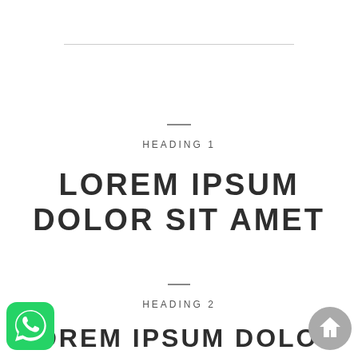HEADING 1
LOREM IPSUM DOLOR SIT AMET
HEADING 2
LOREM IPSUM DOLOR
[Figure (logo): WhatsApp app icon — green rounded square with white phone/chat bubble logo]
[Figure (logo): Gray circular home/house icon button]